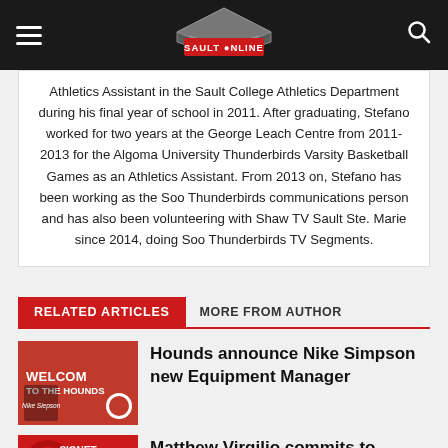SaultOnline navigation bar
Athletics Assistant in the Sault College Athletics Department during his final year of school in 2011. After graduating, Stefano worked for two years at the George Leach Centre from 2011-2013 for the Algoma University Thunderbirds Varsity Basketball Games as an Athletics Assistant. From 2013 on, Stefano has been working as the Soo Thunderbirds communications person and has also been volunteering with Shaw TV Sault Ste. Marie since 2014, doing Soo Thunderbirds TV Segments.
RELATED ARTICLES   MORE FROM AUTHOR
Hounds announce Nike Simpson new Equipment Manager
Matthew Virgilio commits to